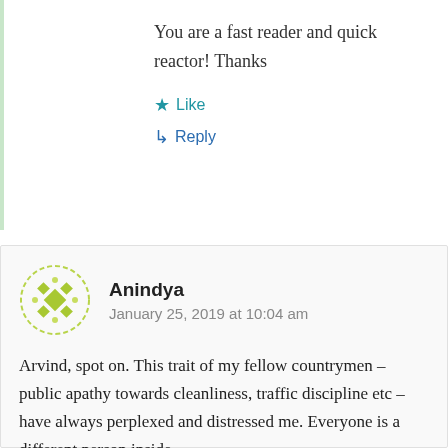You are a fast reader and quick reactor! Thanks
Like
Reply
Anindya
January 25, 2019 at 10:04 am
Arvind, spot on. This trait of my fellow countrymen – public apathy towards cleanliness, traffic discipline etc – have always perplexed and distressed me. Everyone is a different person inside his own home than outside, but that is it.